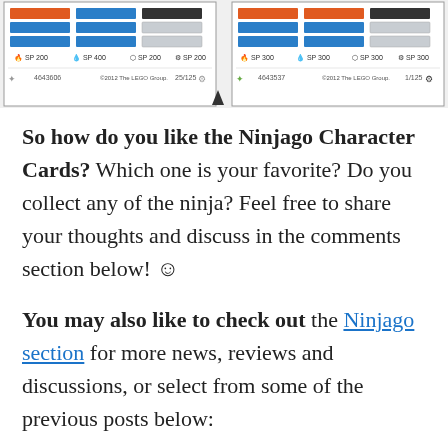[Figure (photo): Two Ninjago character cards side by side showing colored stat bars (orange, blue, black, white) with SP values and card IDs (4643606 numbered 25/125 and 4643537 numbered 1/125)]
So how do you like the Ninjago Character Cards? Which one is your favorite? Do you collect any of the ninja? Feel free to share your thoughts and discuss in the comments section below! ☺
You may also like to check out the Ninjago section for more news, reviews and discussions, or select from some of the previous posts below:
Ninjago Lloyd ZX Spinner review